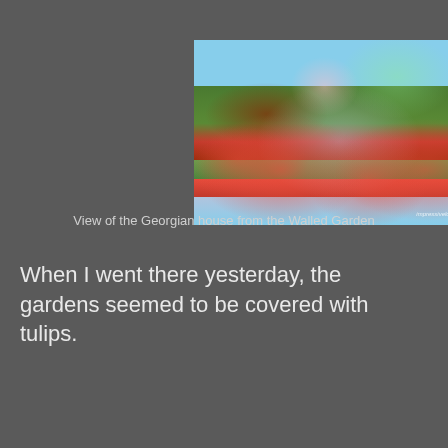[Figure (photo): View of a Georgian house from the Walled Garden, with red tulips and blue forget-me-nots in the foreground, ivy-covered walls and cherry blossom trees in the background]
View of the Georgian house from the Walled Garden
When I went there yesterday, the gardens seemed to be covered with tulips.
[Figure (photo): Close-up of orange-red tulips with blue flowers (forget-me-nots) visible in the background]